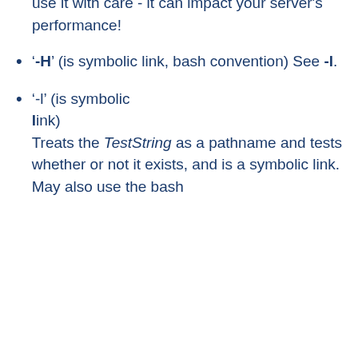use it with care - it can impact your server's performance!
'-H' (is symbolic link, bash convention) See -l.
'-l' (is symbolic link) Treats the TestString as a pathname and tests whether or not it exists, and is a symbolic link. May also use the bash